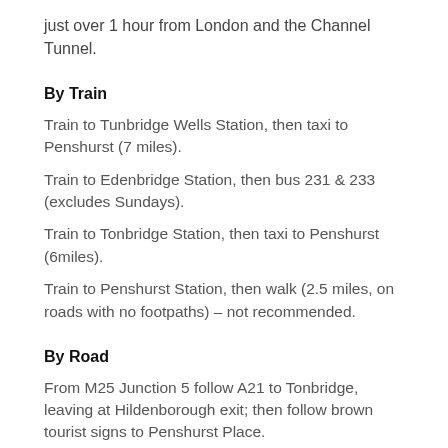just over 1 hour from London and the Channel Tunnel.
By Train
Train to Tunbridge Wells Station, then taxi to Penshurst (7 miles).
Train to Edenbridge Station, then bus 231 & 233 (excludes Sundays).
Train to Tonbridge Station, then taxi to Penshurst (6miles).
Train to Penshurst Station, then walk (2.5 miles, on roads with no footpaths) – not recommended.
By Road
From M25 Junction 5 follow A21 to Tonbridge, leaving at Hildenborough exit; then follow brown tourist signs to Penshurst Place.